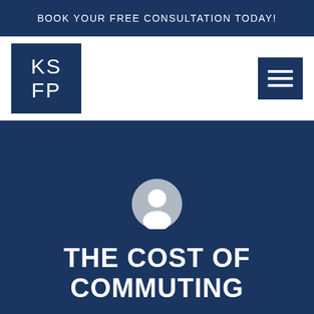BOOK YOUR FREE CONSULTATION TODAY!
[Figure (logo): KSFP logo square with white text on dark navy background]
[Figure (other): Hamburger menu icon (three horizontal lines) on dark navy background]
[Figure (other): Generic user avatar icon — grey circle with white person silhouette]
THE COST OF COMMUTING